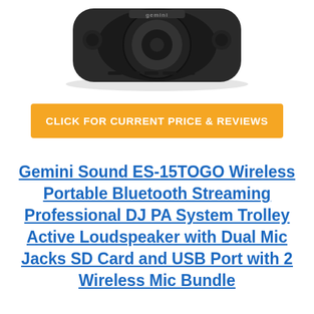[Figure (photo): Black Gemini branded portable speaker/PA system, viewed from top-front angle, showing the gemini logo on top]
CLICK FOR CURRENT PRICE & REVIEWS
Gemini Sound ES-15TOGO Wireless Portable Bluetooth Streaming Professional DJ PA System Trolley Active Loudspeaker with Dual Mic Jacks SD Card and USB Port with 2 Wireless Mic Bundle